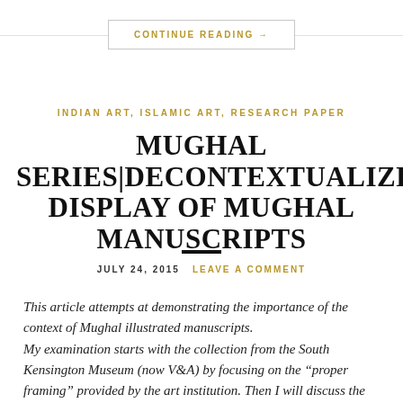CONTINUE READING →
INDIAN ART, ISLAMIC ART, RESEARCH PAPER
MUGHAL SERIES|DECONTEXTUALIZED DISPLAY OF MUGHAL MANUSCRIPTS
JULY 24, 2015  LEAVE A COMMENT
This article attempts at demonstrating the importance of the context of Mughal illustrated manuscripts. My examination starts with the collection from the South Kensington Museum (now V&A) by focusing on the "proper framing" provided by the art institution. Then I will discuss the history of the pages that had been detached from the binding, the practices of exhibiting and display in the